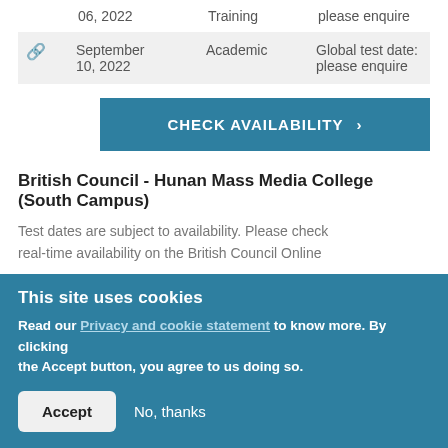|  | Date | Type | Availability |
| --- | --- | --- | --- |
|  | 06, 2022 | Training | please enquire |
| 🔗 | September 10, 2022 | Academic | Global test date: please enquire |
CHECK AVAILABILITY >
British Council - Hunan Mass Media College (South Campus)
Test dates are subject to availability. Please check real-time availability on the British Council Online
This site uses cookies
Read our Privacy and cookie statement to know more. By clicking the Accept button, you agree to us doing so.
Accept   No, thanks